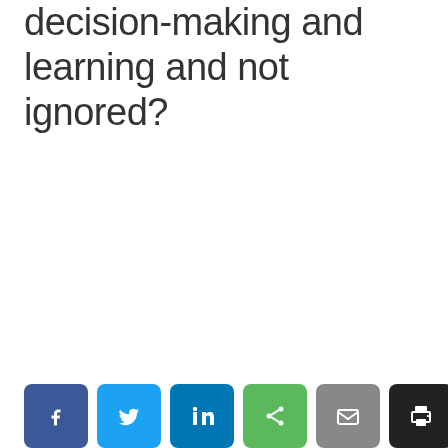decision-making and learning and not ignored?
[Figure (infographic): Row of six social share buttons: Facebook (blue), Twitter (light blue), LinkedIn (dark blue), Share (green), Email (grey), Print (black)]